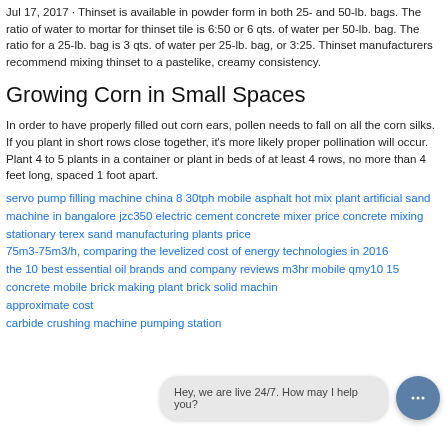Jul 17, 2017 · Thinset is available in powder form in both 25- and 50-lb. bags. The ratio of water to mortar for thinset tile is 6:50 or 6 qts. of water per 50-lb. bag. The ratio for a 25-lb. bag is 3 qts. of water per 25-lb. bag, or 3:25. Thinset manufacturers recommend mixing thinset to a pastelike, creamy consistency.
Growing Corn in Small Spaces
In order to have properly filled out corn ears, pollen needs to fall on all the corn silks. If you plant in short rows close together, it's more likely proper pollination will occur. Plant 4 to 5 plants in a container or plant in beds of at least 4 rows, no more than 4 feet long, spaced 1 foot apart.
servo pump filling machine china 8 30tph mobile asphalt hot mix plant artificial sand machine in bangalore jzc350 electric cement concrete mixer price concrete mixing
stationary terex sand manufacturing plants price
75m3-75m3/h, comparing the levelized cost of energy technologies in 2016
the 10 best essential oil brands and company reviews m3hr mobile qmy10 15 concrete mobile brick making plant brick solid machine approximate cost
carbide crushing machine pumping station